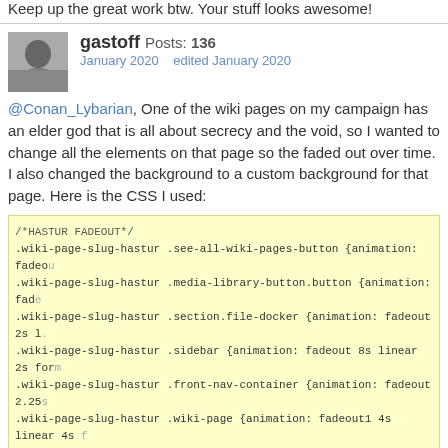Keep up the great work btw. Your stuff looks awesome!
gastoff Posts: 136
January 2020   edited January 2020
@Conan_Lybarian, One of the wiki pages on my campaign has an elder god that is all about secrecy and the void, so I wanted to change all the elements on that page so the faded out over time. I also changed the background to a custom background for that page. Here is the CSS I used:
[Figure (screenshot): Code block with yellow background showing CSS for HASTUR FADEOUT with multiple .wiki-page-slug-hastur selectors]
The format to change the background on a single page would be:
.wiki-page-slug-[YOUR PAGE SLUG] .page-background {background-image:url("PAGE URL");}